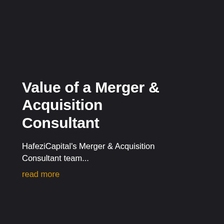Value of a Merger & Acquisition Consultant
HafeziCapital's Merger & Acquisition Consultant team...
read more